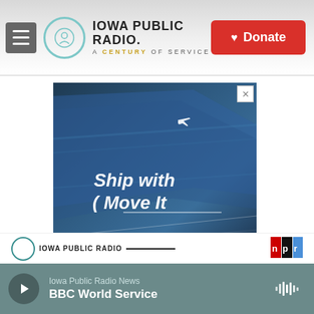Iowa Public Radio. A Century of Service. Donate button.
[Figure (photo): Advertisement banner: blue-toned motion-blurred truck/trailer with text 'Ship with Move It' and a crescent logo with airplane silhouette, on a highway background. Close button (X) in top right corner.]
Iowa Public Radio News — BBC World Service (audio player bar with play button and waveform icon)